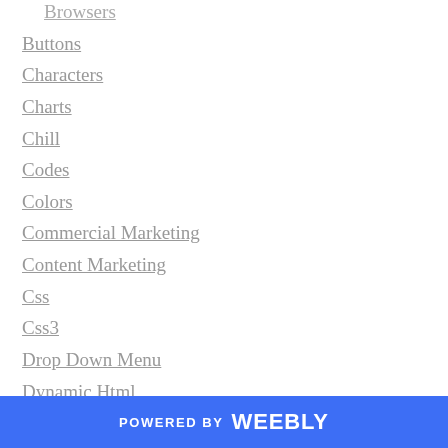Browsers
Buttons
Characters
Charts
Chill
Codes
Colors
Commercial Marketing
Content Marketing
Css
Css3
Drop Down Menu
Dynamic Html
Effects
Engage For Agencies
Facebook
Flash
F…
POWERED BY weebly